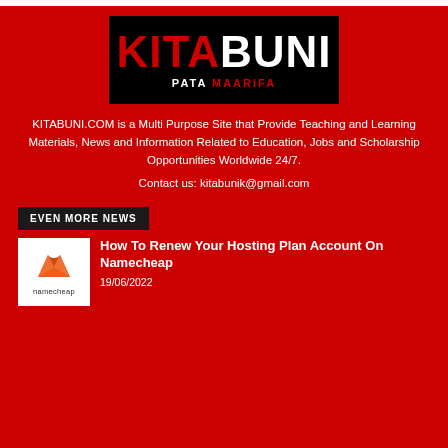[Figure (logo): KITABUNI logo on black background with red KITA and white BUNI text, subtitle PATA MAARIFA]
KITABUNI.COM is a Multi Purpose Site that Provide Teaching and Learning Materials, News and Information Related to Education, Jobs and Scholarship Opportunities Worldwide 24/7.
Contact us: kitabunik@gmail.com
EVEN MORE NEWS
[Figure (logo): Namecheap logo with orange N icon and namecheap wordmark on white background]
How To Renew Your Hosting Plan Account On Namecheap
19/06/2022